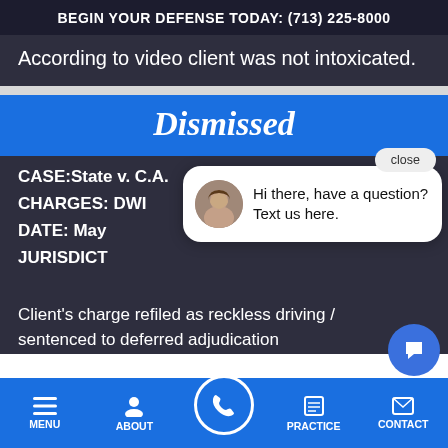BEGIN YOUR DEFENSE TODAY: (713) 225-8000
According to video client was not intoxicated.
Dismissed
CASE: State v. C.A.
CHARGES: DWI
DATE: May
JURISDICT
Hi there, have a question? Text us here.
Client's charge refiled as reckless driving / sentenced to deferred adjudication
MENU  ABOUT  PRACTICE  CONTACT